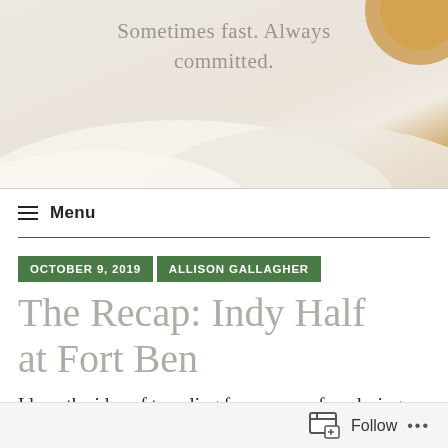[Figure (photo): Blog header hero image showing white daisy petals with a warm orange/yellow center visible at top right. Text overlay reads 'Sometimes fast. Always committed.' in gray serif font.]
Menu
OCTOBER 9, 2019
ALLISON GALLAGHER
The Recap: Indy Half at Fort Ben
I love the idea of traveling for races – of exploring
Follow